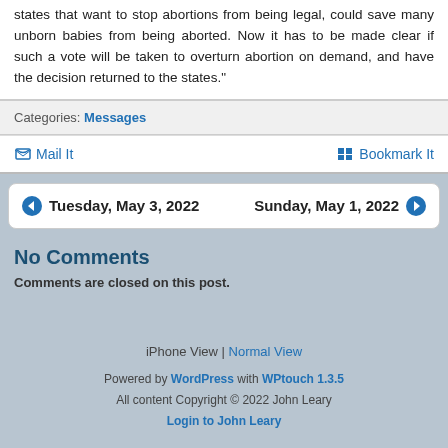states that want to stop abortions from being legal, could save many unborn babies from being aborted. Now it has to be made clear if such a vote will be taken to overturn abortion on demand, and have the decision returned to the states.”
Categories: Messages
Mail It   Bookmark It
Tuesday, May 3, 2022   Sunday, May 1, 2022
No Comments
Comments are closed on this post.
iPhone View | Normal View
Powered by WordPress with WPtouch 1.3.5
All content Copyright © 2022 John Leary
Login to John Leary